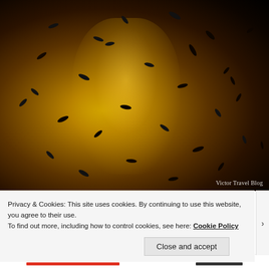[Figure (photo): A photo showing human feet/hands submerged in a golden-lit tank filled with many small dark fish (likely a fish spa experience). The image is illuminated in warm amber/golden tones. A watermark reads 'Victor Travel Blog' in the bottom right corner.]
Privacy & Cookies: This site uses cookies. By continuing to use this website, you agree to their use.
To find out more, including how to control cookies, see here: Cookie Policy
Close and accept